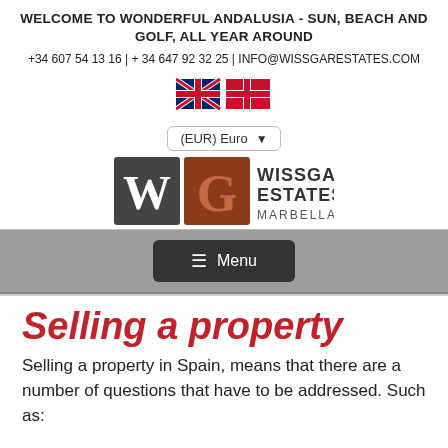WELCOME TO WONDERFUL ANDALUSIA - SUN, BEACH AND GOLF, ALL YEAR AROUND
+34 607 54 13 16 | + 34 647 92 32 25 | INFO@WISSGARESTATES.COM
[Figure (logo): UK flag and Danish flag icons]
[Figure (screenshot): (EUR) Euro currency selector dropdown]
[Figure (logo): Wissgar Estates Marbella logo with W and G lettermarks]
≡ Menu
Selling a property
Selling a property in Spain, means that there are a number of questions that have to be addressed. Such as: